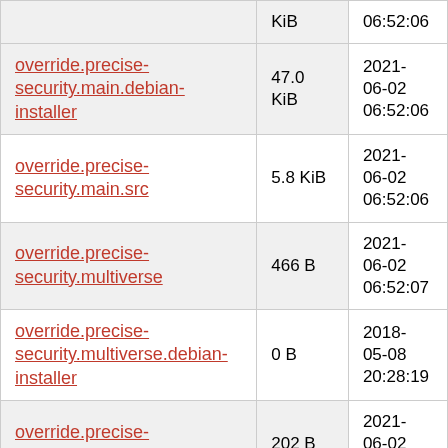| Name | Size | Date |
| --- | --- | --- |
| override.precise-security.main.debian-installer | 47.0 KiB | 2021-06-02 06:52:06 |
| override.precise-security.main.src | 5.8 KiB | 2021-06-02 06:52:06 |
| override.precise-security.multiverse | 466 B | 2021-06-02 06:52:07 |
| override.precise-security.multiverse.debian-installer | 0 B | 2018-05-08 20:28:19 |
| override.precise-security.multiverse.src | 202 B | 2021-06-02 06:52:07 |
| override.precise-security.restricted | 1.9 KiB | 2021-06-02 06:52:05 |
| override.precise-security.restricted.debian-installer | 0 B | 2018-05-08 20:28:19 |
| override.precise-security... |  | 2021- |